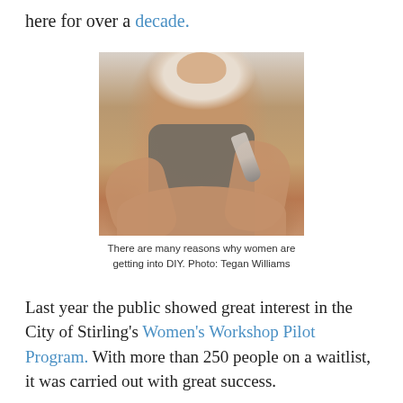here for over a decade.
[Figure (photo): Woman sitting with paint-covered arms and clothes, holding a paintbrush, smiling. Photo by Tegan Williams.]
There are many reasons why women are getting into DIY. Photo: Tegan Williams
Last year the public showed great interest in the City of Stirling's Women's Workshop Pilot Program. With more than 250 people on a waitlist, it was carried out with great success.